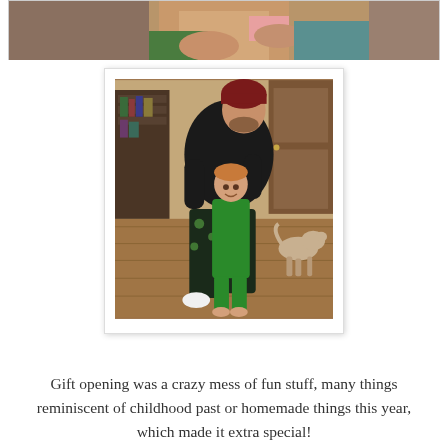[Figure (photo): Partial photo at top of page showing close-up of hands/arms, cropped at top edge]
[Figure (photo): Photo in white card/polaroid frame showing a man in black shirt and dark beanie hat bending over hugging a young boy in green pajamas. A dog is visible in background. Indoor setting with wood floors and bookshelves.]
Gift opening was a crazy mess of fun stuff, many things reminiscent of childhood past or homemade things this year, which made it extra special!